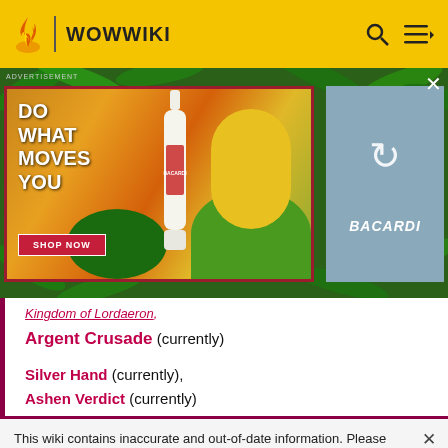WOWWIKI
[Figure (screenshot): Bacardi advertisement banner with tropical fruit background, bottle, and 'DO WHAT MOVES YOU / SHOP NOW' text, plus a secondary Bacardi image panel with refresh indicator]
Kingdom of Lordaeron, Argent Crusade (currently)
Silver Hand (currently), Ashen Verdict (currently)
This wiki contains inaccurate and out-of-date information. Please head over to https://wowpedia.fandom.com for more accurate and up-to-date game information.